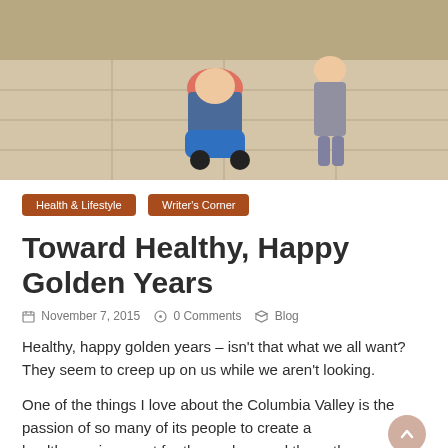[Figure (photo): Outdoor photo showing people, one seated on a blue wheeled device/scooter, on a tiled patio with gravel in background]
Health & Lifestyle
Writer's Corner
Toward Healthy, Happy Golden Years
November 7, 2015   0 Comments   Blog
Healthy, happy golden years – isn't that what we all want? They seem to creep up on us while we aren't looking.
One of the things I love about the Columbia Valley is the passion of so many of its people to create a healthy environment for themselves and those they